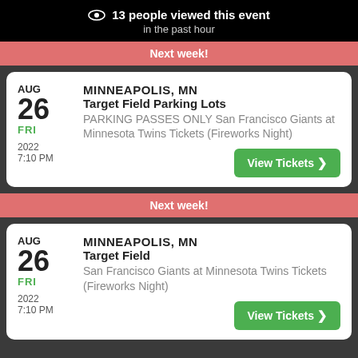13 people viewed this event in the past hour
Next week!
MINNEAPOLIS, MN
Target Field Parking Lots
PARKING PASSES ONLY San Francisco Giants at Minnesota Twins Tickets (Fireworks Night)
AUG 26 FRI 2022 7:10 PM
View Tickets
Next week!
MINNEAPOLIS, MN
Target Field
San Francisco Giants at Minnesota Twins Tickets (Fireworks Night)
AUG 26 FRI 2022 7:10 PM
View Tickets